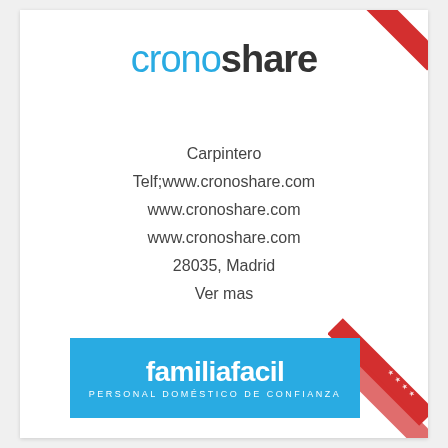[Figure (logo): Cronoshare logo with 'crono' in blue and 'share' in dark bold text]
Carpintero
Telf;www.cronoshare.com
www.cronoshare.com
www.cronoshare.com
28035, Madrid
Ver mas
[Figure (logo): Red rectangle badge with white text 'Familia Facil']
[Figure (logo): Familia Facil blue banner logo with white text 'familiafacil' and subtitle 'Personal doméstico de confianza']